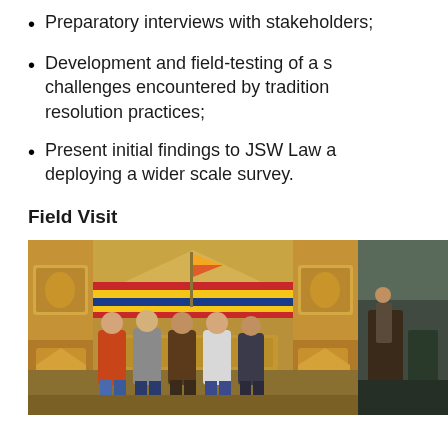Preparatory interviews with stakeholders;
Development and field-testing of a survey instrument on the challenges encountered by traditional dispute resolution practices;
Present initial findings to JSW Law and discuss feasibility of deploying a wider scale survey.
Field Visit
[Figure (photo): Group photo of five people standing inside a traditional Bhutanese building (dzong) with ornate golden decorations, colorful flags, and traditional architecture. A partial second photo is visible on the right edge.]